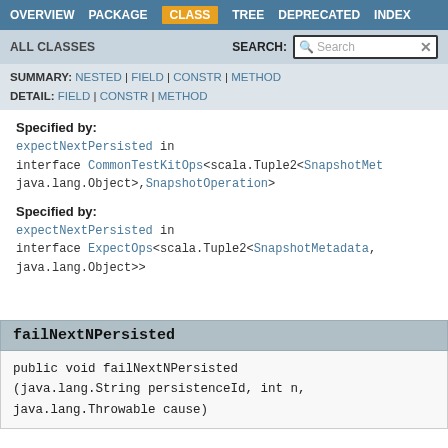OVERVIEW  PACKAGE  CLASS  TREE  DEPRECATED  INDEX
ALL CLASSES   SEARCH:
SUMMARY: NESTED | FIELD | CONSTR | METHOD
DETAIL: FIELD | CONSTR | METHOD
Specified by:
expectNextPersisted in interface CommonTestKitOps<scala.Tuple2<SnapshotMetadata, java.lang.Object>,SnapshotOperation>
Specified by:
expectNextPersisted in interface ExpectOps<scala.Tuple2<SnapshotMetadata, java.lang.Object>>
failNextNPersisted
public void failNextNPersisted
(java.lang.String persistenceId, int n,
java.lang.Throwable cause)